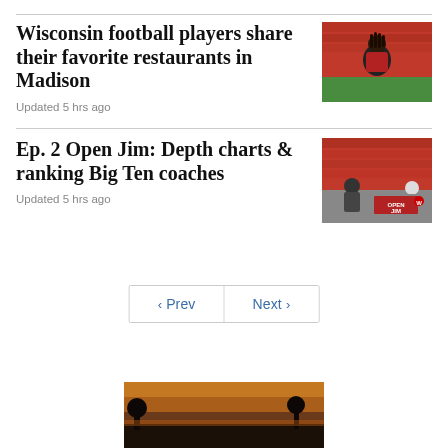Wisconsin football players share their favorite restaurants in Madison
Updated 5 hrs ago
[Figure (photo): Wisconsin football player in red uniform on field]
Ep. 2 Open Jim: Depth charts & ranking Big Ten coaches
Updated 5 hrs ago
[Figure (photo): Open Jim podcast thumbnail with coach on sideline, red OPEN JIM banner]
< Prev   Next >
[Figure (photo): Bottom thumbnail image partially visible]